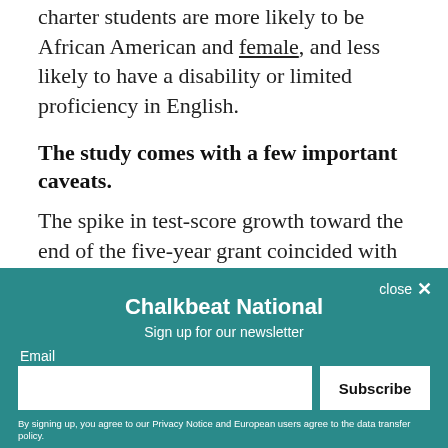charter students are more likely to be African American and female, and less likely to have a disability or limited proficiency in English.
The study comes with a few important caveats.
The spike in test-score growth toward the end of the five-year grant coincided with the introduction of a new test aligned with the Common Core, the PARCC. It also coincided with an increase in students opting out of state tests in New Jersey and Massachusetts. Researchers try to account for these factors, but it's likely that those changes skewed the findings.
[Figure (screenshot): Newsletter signup modal overlay for Chalkbeat National with teal background, close button, email input field, Subscribe button, and legal disclaimer text.]